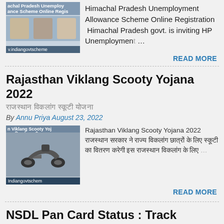[Figure (screenshot): Thumbnail image for Himachal Pradesh Unemployment Allowance Scheme article]
Himachal Pradesh Unemployment Allowance Scheme Online Registration  Himachal Pradesh govt. is inviting HP Unemployment …
READ MORE
Rajasthan Viklang Scooty Yojana 2022
राजस्थान विकलांग स्कूटी योजना
By Annu Priya August 23, 2022
[Figure (screenshot): Thumbnail image for Rajasthan Viklang Scooty Yojana with scooter image]
Rajasthan Viklang Scooty Yojana 2022 राजस्थान सरकार ने राज्य विकलांग छात्रों के लिए स्कूटी का वितरण करेगी इस राजस्थान विकलांग के लिए …
READ MORE
NSDL Pan Card Status : Track PAN/TAN Application Status